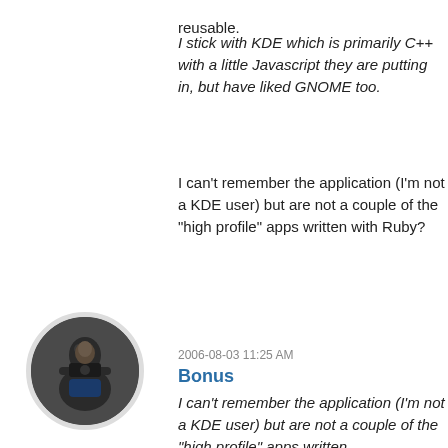reusable.
I stick with KDE which is primarily C++ with a little Javascript they are putting in, but have liked GNOME too.
I can't remember the application (I'm not a KDE user) but are not a couple of the "high profile" apps written with Ruby?
2006-08-03 11:25 AM
Bonus
[Figure (photo): Circular avatar photo of a person]
I can't remember the application (I'm not a KDE user) but are not a couple of the "high profile" apps written with Ruby?